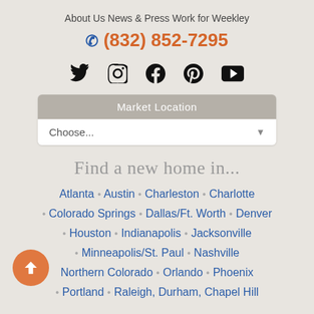About Us   News & Press   Work for Weekley
(832) 852-7295
[Figure (infographic): Social media icons: Twitter, Instagram, Facebook, Pinterest, YouTube]
Market Location
Choose...
Find a new home in...
Atlanta . Austin . Charleston . Charlotte . Colorado Springs . Dallas/Ft. Worth . Denver . Houston . Indianapolis . Jacksonville . Minneapolis/St. Paul . Nashville . Northern Colorado . Orlando . Phoenix . Portland . Raleigh, Durham, Chapel Hill